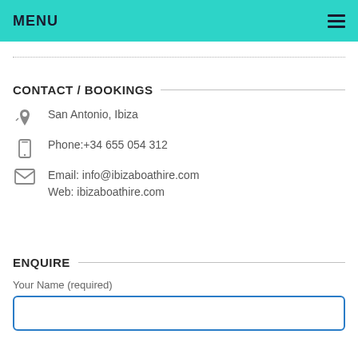MENU
CONTACT / BOOKINGS
San Antonio, Ibiza
Phone:+34 655 054 312
Email: info@ibizaboathire.com
Web: ibizaboathire.com
ENQUIRE
Your Name (required)